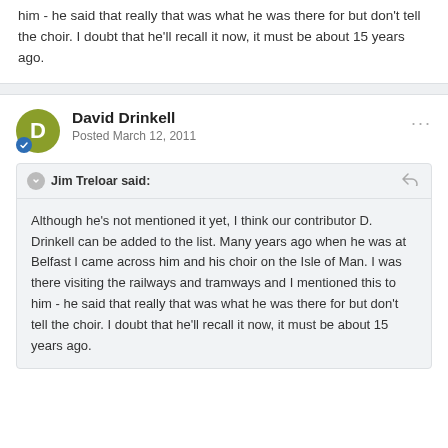him - he said that really that was what he was there for but don't tell the choir. I doubt that he'll recall it now, it must be about 15 years ago.
David Drinkell
Posted March 12, 2011
Jim Treloar said:
Although he's not mentioned it yet, I think our contributor D. Drinkell can be added to the list. Many years ago when he was at Belfast I came across him and his choir on the Isle of Man. I was there visiting the railways and tramways and I mentioned this to him - he said that really that was what he was there for but don't tell the choir. I doubt that he'll recall it now, it must be about 15 years ago.